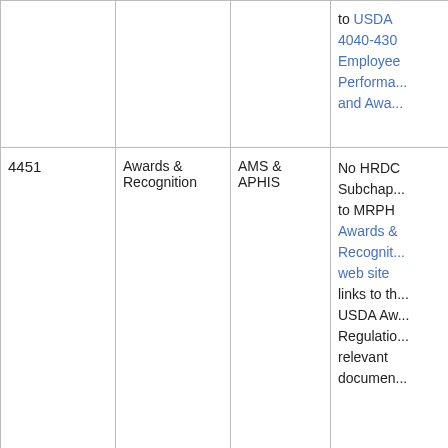| Chapter | Topic | Agency | Notes |
| --- | --- | --- | --- |
|  |  |  | to USDA 4040-430 Employee Performance and Awa... |
| 4451 | Awards & Recognition | AMS & APHIS | No HRDC Subchap... to MRPH Awards & Recognition web site links to the USDA Aw... Regulations relevant documents... |
| 4500 Chapter Series: Position Classification, Pay & Allowances |  |  |  |
| 4500 | Recruitment | AMS & | 11/02 wi... |